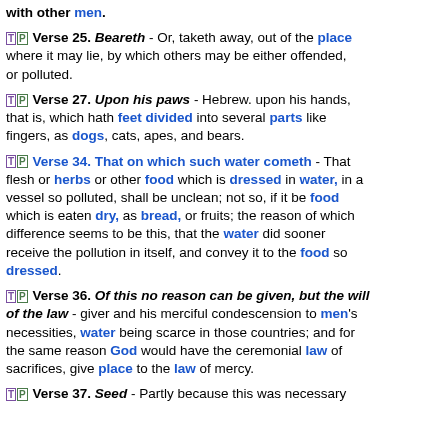with other men.
Verse 25. Beareth - Or, taketh away, out of the place where it may lie, by which others may be either offended, or polluted.
Verse 27. Upon his paws - Hebrew. upon his hands, that is, which hath feet divided into several parts like fingers, as dogs, cats, apes, and bears.
Verse 34. That on which such water cometh - That flesh or herbs or other food which is dressed in water, in a vessel so polluted, shall be unclean; not so, if it be food which is eaten dry, as bread, or fruits; the reason of which difference seems to be this, that the water did sooner receive the pollution in itself, and convey it to the food so dressed.
Verse 36. Of this no reason can be given, but the will of the law - giver and his merciful condescension to men's necessities, water being scarce in those countries; and for the same reason God would have the ceremonial law of sacrifices, give place to the law of mercy.
Verse 37. Seed - Partly because this was necessary